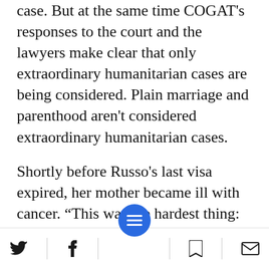case. But at the same time COGAT's responses to the court and the lawyers make clear that only extraordinary humanitarian cases are being considered. Plain marriage and parenthood aren't considered extraordinary humanitarian cases.
Shortly before Russo's last visa expired, her mother became ill with cancer. “This was the hardest thing: to choose between your mother and your son,” Russo told Haaretz in her home in Nablus. “If I go to her, I might not be able to come back. If I stay with my son, I won’t see her and won’t be able to see her and my father
Social share bar with Twitter, Facebook, menu, bookmark, and email icons